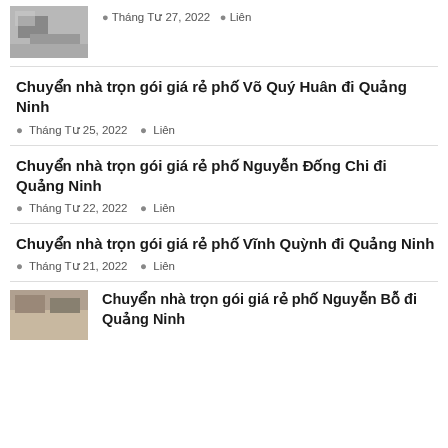[Figure (photo): Small thumbnail image of a room/moving scene]
Tháng Tư 27, 2022  Liên
Chuyển nhà trọn gói giá rẻ phố Võ Quý Huân đi Quảng Ninh
Tháng Tư 25, 2022  Liên
Chuyển nhà trọn gói giá rẻ phố Nguyễn Đống Chi đi Quảng Ninh
Tháng Tư 22, 2022  Liên
Chuyển nhà trọn gói giá rẻ phố Vĩnh Quỳnh đi Quảng Ninh
Tháng Tư 21, 2022  Liên
[Figure (photo): Small thumbnail image of boxes/moving items]
Chuyển nhà trọn gói giá rẻ phố Nguyễn Bỗ đi Quảng Ninh